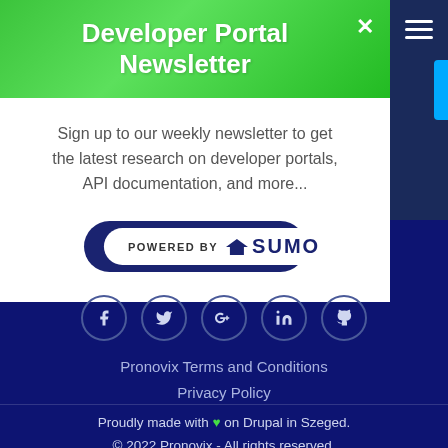Developer Portal Newsletter
Sign up to our weekly newsletter to get the latest research on developer portals, API documentation, and more...
Subscribe
[Figure (logo): POWERED BY SUMO badge with crown icon]
[Figure (infographic): Social media icons: Facebook, Twitter, Google+, LinkedIn, GitHub]
Pronovix Terms and Conditions
Privacy Policy
Proudly made with ♥ on Drupal in Szeged.
© 2022 Pronovix - All rights reserved.